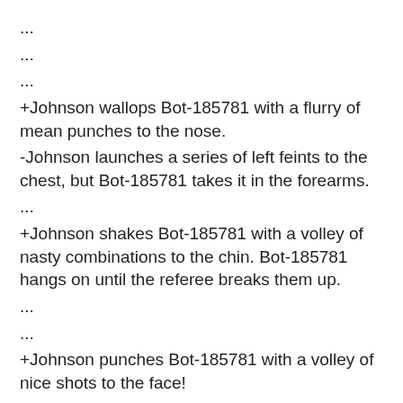...
...
...
+Johnson wallops Bot-185781 with a flurry of mean punches to the nose.
-Johnson launches a series of left feints to the chest, but Bot-185781 takes it in the forearms.
...
+Johnson shakes Bot-185781 with a volley of nasty combinations to the chin. Bot-185781 hangs on until the referee breaks them up.
...
...
+Johnson punches Bot-185781 with a volley of nice shots to the face!
+Johnson pokes Bot-185781 with a barrage of commanding punches to the jaw.
-Johnson attacks with a left counter-punch to the nose, but Bot-185781 takes it in the forearms.